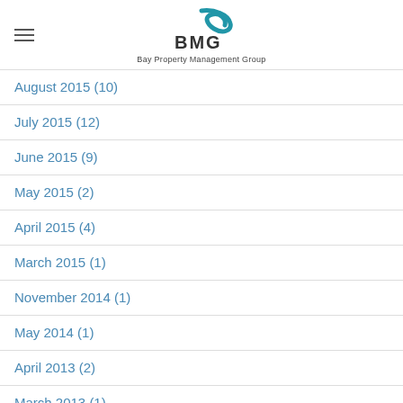BMG Bay Property Management Group
August 2015 (10)
July 2015 (12)
June 2015 (9)
May 2015 (2)
April 2015 (4)
March 2015 (1)
November 2014 (1)
May 2014 (1)
April 2013 (2)
March 2013 (1)